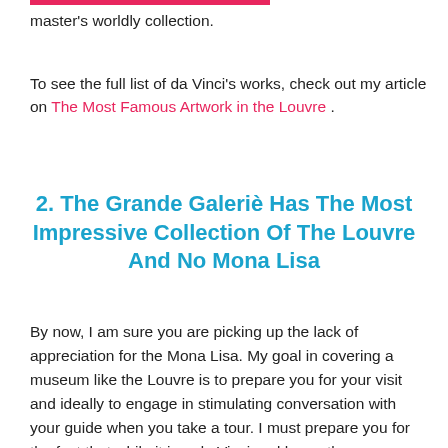master's worldly collection.
To see the full list of da Vinci's works, check out my article on The Most Famous Artwork in the Louvre .
2. The Grande Galeriè Has The Most Impressive Collection Of The Louvre And No Mona Lisa
By now, I am sure you are picking up the lack of appreciation for the Mona Lisa. My goal in covering a museum like the Louvre is to prepare you for your visit and ideally to engage in stimulating conversation with your guide when you take a tour. I must prepare you for the fact that while it is a da Vinci and honestly very captivating, the Mona Lisa is not the most